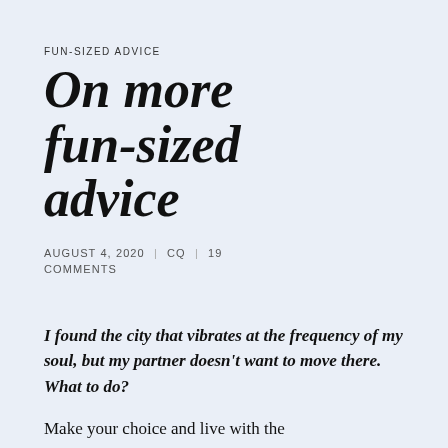FUN-SIZED ADVICE
On more fun-sized advice
AUGUST 4, 2020 | CQ | 19 COMMENTS
I found the city that vibrates at the frequency of my soul, but my partner doesn't want to move there. What to do?
Make your choice and live with the consequences.